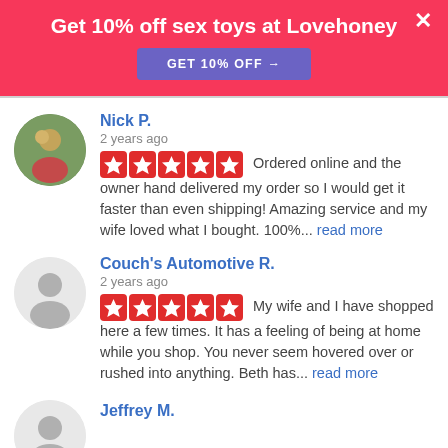Get 10% off sex toys at Lovehoney
GET 10% OFF →
Nick P.
2 years ago
★★★★★ Ordered online and the owner hand delivered my order so I would get it faster than even shipping! Amazing service and my wife loved what I bought. 100%... read more
Couch's Automotive R.
2 years ago
★★★★★ My wife and I have shopped here a few times. It has a feeling of being at home while you shop. You never seem hovered over or rushed into anything. Beth has... read more
Jeffrey M.